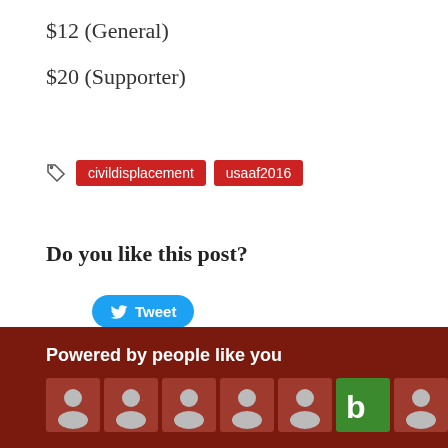$12 (General)
$20 (Supporter)
civildisplacement  usaaf2016
Do you like this post?
Tweet
Powered by people like you